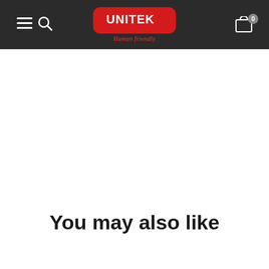UNITEK - Human friendly
You may also like